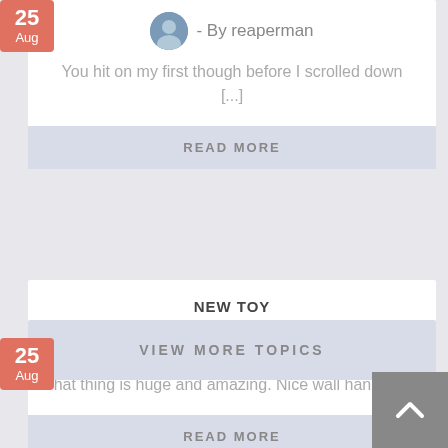- By reaperman
You hit on my first though before I scrolled down [...]
READ MORE
NEW TOY
- By Anthony
That thing is huge and amazing. Nice wall hanger.[...]
READ MORE
VIEW MORE TOPICS